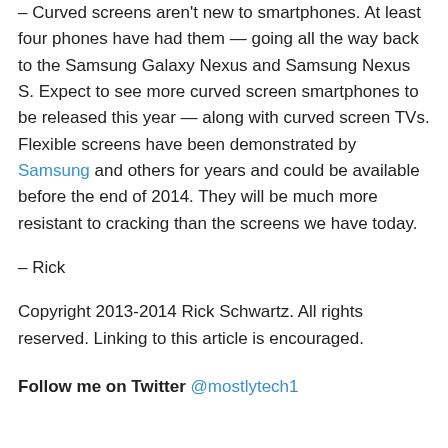– Curved screens aren't new to smartphones. At least four phones have had them — going all the way back to the Samsung Galaxy Nexus and Samsung Nexus S. Expect to see more curved screen smartphones to be released this year — along with curved screen TVs. Flexible screens have been demonstrated by Samsung and others for years and could be available before the end of 2014. They will be much more resistant to cracking than the screens we have today.
– Rick
Copyright 2013-2014 Rick Schwartz. All rights reserved. Linking to this article is encouraged.
Follow me on Twitter @mostlytech1